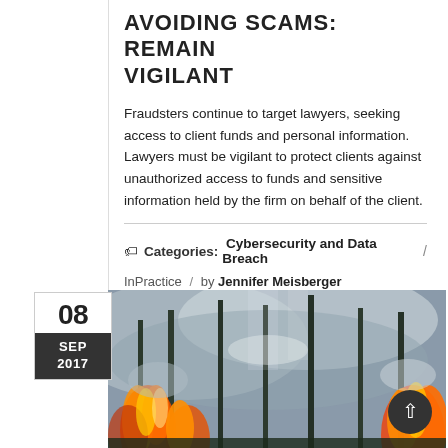AVOIDING SCAMS: REMAIN VIGILANT
Fraudsters continue to target lawyers, seeking access to client funds and personal information. Lawyers must be vigilant to protect clients against unauthorized access to funds and sensitive information held by the firm on behalf of the client.
Categories: Cybersecurity and Data Breach /
InPractice / by Jennifer Meisberger
[Figure (photo): Forest fire photo showing trees engulfed in flames with smoke and orange fire visible among trees in a forest setting]
08 SEP 2017